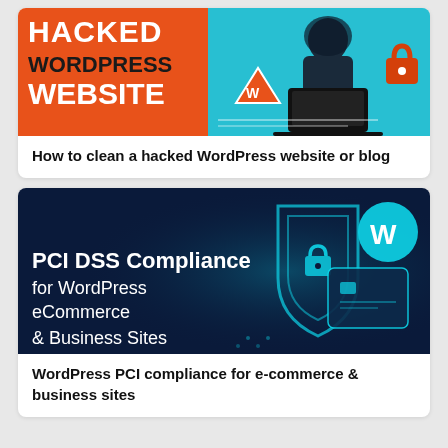[Figure (illustration): Hacked WordPress Website banner: orange left panel with bold text 'HACKED WORDPRESS WEBSITE', cyan/blue right panel with hooded hacker at laptop, warning triangle with WordPress logo, padlock icon]
How to clean a hacked WordPress website or blog
[Figure (illustration): PCI DSS Compliance for WordPress eCommerce & Business Sites banner: dark blue background with glowing cyan shield and WordPress logo on phone/card, credit card graphic]
WordPress PCI compliance for e-commerce & business sites